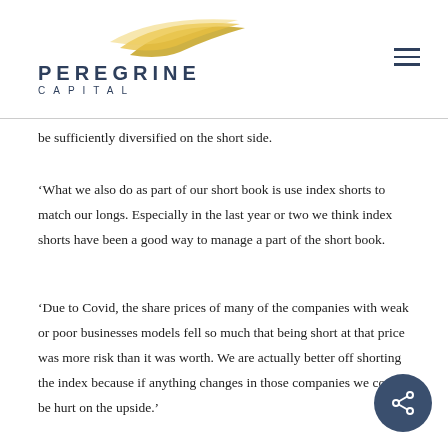PEREGRINE CAPITAL
be sufficiently diversified on the short side.
‘What we also do as part of our short book is use index shorts to match our longs. Especially in the last year or two we think index shorts have been a good way to manage a part of the short book.
‘Due to Covid, the share prices of many of the companies with weak or poor businesses models fell so much that being short at that price was more risk than it was worth. We are actually better off shorting the index because if anything changes in those companies we could be hurt on the upside.’